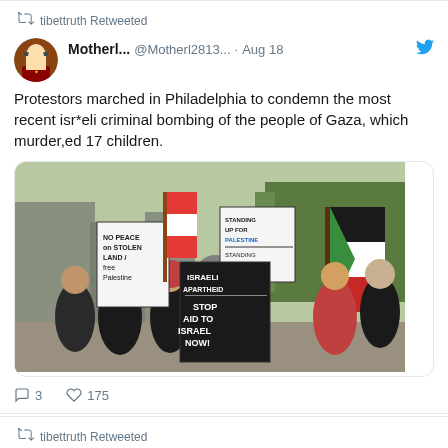tibettruth Retweeted
Motherl... @Motherl2813... · Aug 18
Protestors marched in Philadelphia to condemn the most recent isr*eli criminal bombing of the people of Gaza, which murder,ed 17 children.
[Figure (photo): Protest march in Philadelphia showing demonstrators holding signs reading 'NO PEACE on STOLEN LAND free Palestine', 'STANDING UP FOR PALESTINE', 'ISRAELI APARTHEID STOP AID TO ISRAEL NOW!' with Palestinian flags]
3  175
tibettruth Retweeted
AynurUyg... @Aynur3542... · Aug 18